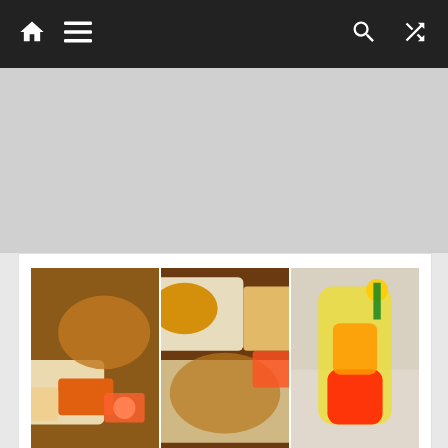Navigation bar with home, menu, search, and shuffle icons
[Figure (photo): Three food photos: left shows Asian dishes with spring rolls and dipping sauces, center shows grilled chicken with rice and sauces, right shows a colorful layered cocktail drink in a restaurant interior]
1). Local honey and Soya glazed Chicken breast (5500)
2 ).Chicken spring rolls (2500):